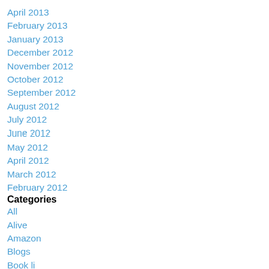April 2013
February 2013
January 2013
December 2012
November 2012
October 2012
September 2012
August 2012
July 2012
June 2012
May 2012
April 2012
March 2012
February 2012
Categories
All
Alive
Amazon
Blogs
Book li